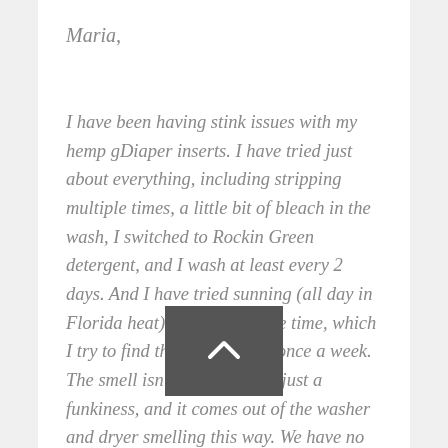Maria,
I have been having stink issues with my hemp gDiaper inserts. I have tried just about everything, including stripping multiple times, a little bit of bleach in the wash, I switched to Rockin Green detergent, and I wash at least every 2 days. And I have tried sunning (all day in Florida heat) when I have the time, which I try to find the time at least once a week. The smell isn't ammonia, it's just a funkiness, and it comes out of the washer and dryer smelling this way. We have no rash problems cropping up, just the smell. Any